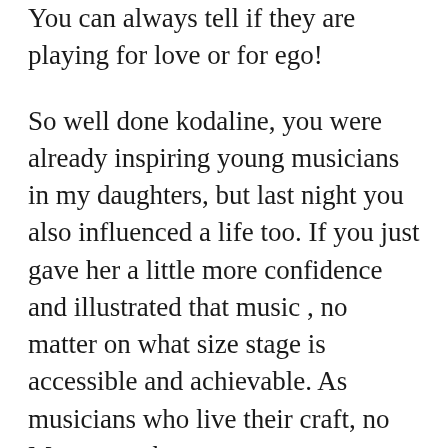You can always tell if they are playing for love or for ego!
So well done kodaline, you were already inspiring young musicians in my daughters, but last night you also influenced a life too. If you just gave her a little more confidence and illustrated that music , no matter on what size stage is accessible and achievable. As musicians who live their craft, no Matter at what stage you are at, you are equals and peers, their to respect and support each other.
So as we travel home after another tiring but lovely weekend.. I'm proud of my staff and